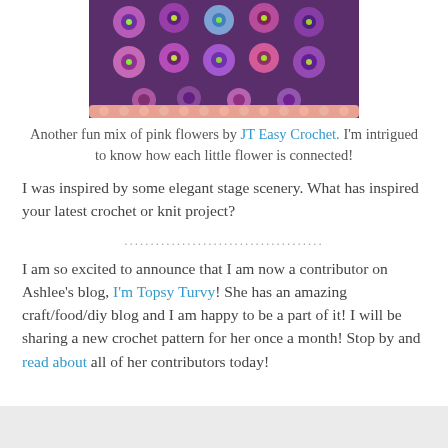[Figure (photo): Crochet blanket with colorful pink, purple, blue, and green flowers arranged in a grid pattern with a peach/pink scalloped border]
Another fun mix of pink flowers by JT Easy Crochet. I'm intrigued to know how each little flower is connected!
I was inspired by some elegant stage scenery. What has inspired your latest crochet or knit project?
......................................
I am so excited to announce that I am now a contributor on Ashlee's blog, I'm Topsy Turvy! She has an amazing craft/food/diy blog and I am happy to be a part of it! I will be sharing a new crochet pattern for her once a month! Stop by and read about all of her contributors today!